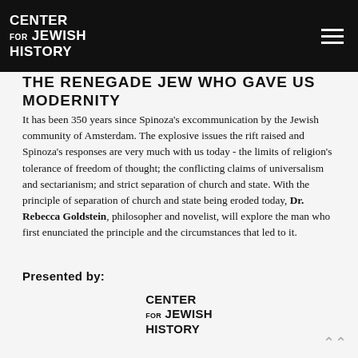CENTER FOR JEWISH HISTORY
THE RENEGADE JEW WHO GAVE US MODERNITY
It has been 350 years since Spinoza's excommunication by the Jewish community of Amsterdam. The explosive issues the rift raised and Spinoza's responses are very much with us today - the limits of religion's tolerance of freedom of thought; the conflicting claims of universalism and sectarianism; and strict separation of church and state. With the principle of separation of church and state being eroded today, Dr. Rebecca Goldstein, philosopher and novelist, will explore the man who first enunciated the principle and the circumstances that led to it.
Presented by:
[Figure (logo): Center for Jewish History logo — stacked text reading CENTER FOR JEWISH HISTORY]